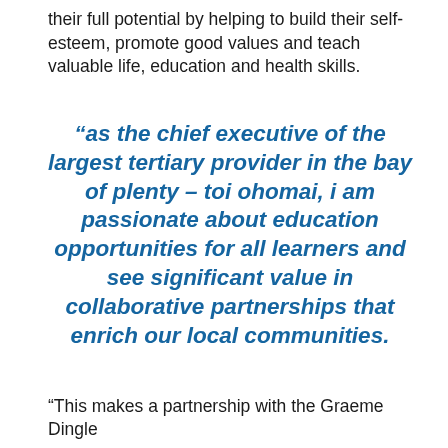their full potential by helping to build their self-esteem, promote good values and teach valuable life, education and health skills.
“as the chief executive of the largest tertiary provider in the bay of plenty – toi ohomai, i am passionate about education opportunities for all learners and see significant value in collaborative partnerships that enrich our local communities.
“This makes a partnership with the Graeme Dingle